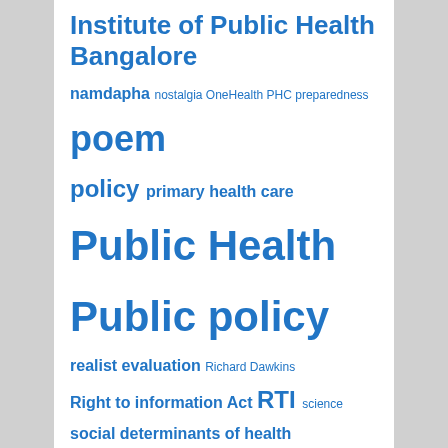Institute of Public Health Bangalore
[Figure (other): Tag cloud with terms: namdapha, nostalgia, OneHealth, PHC, preparedness, poem, policy, primary health care, Public Health, Public policy, realist evaluation, Richard Dawkins, Right to information Act, RTI, science, social determinants of health, soliga, Swasthya Karnataka, tumkur, Umesh Srinivasan, vgkk, WHO Alliance, Wildlife]
TOP POSTS & PAGES
An updated list of resources relevant to COVID-19…
COVID-19 preparedness in rural settings
Tele-triage of patients in cities